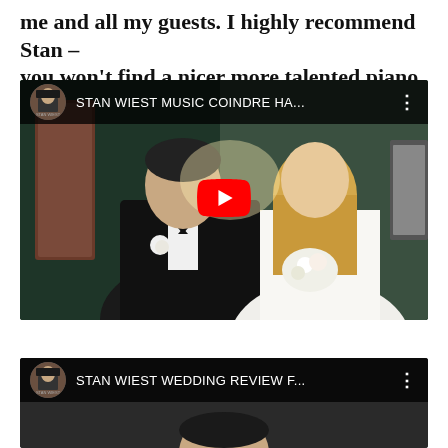me and all my guests. I highly recommend Stan – you won't find a nicer more talented piano player
[Figure (screenshot): YouTube video thumbnail showing a bride and groom couple at a wedding venue. The video title reads 'STAN WIEST MUSIC COINDRE HA...' with a channel avatar on the left and a three-dot menu on the right. A large red YouTube play button is centered on the image.]
[Figure (screenshot): YouTube video thumbnail showing the beginning of another Stan Wiest video. The title reads 'STAN WIEST WEDDING REVIEW F...' with a channel avatar on the left and a three-dot menu on the right. A person's head is visible at the bottom of the thumbnail.]